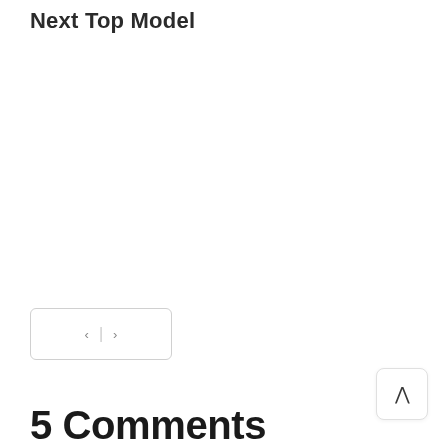Next Top Model
[Figure (other): Navigation controls widget with left and right arrow buttons separated by a vertical bar, inside a rounded rectangle border]
[Figure (other): Back to top button: a rounded square with an upward-pointing chevron icon]
5 Comments